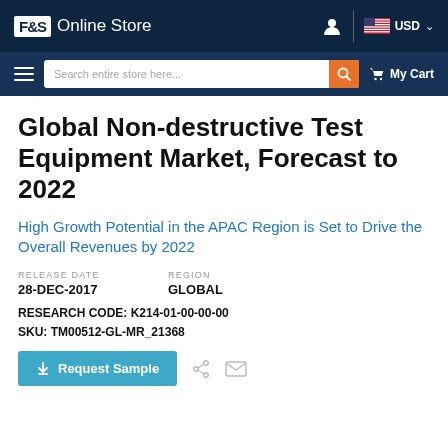F&S Online Store  USD
Global Non-destructive Test Equipment Market, Forecast to 2022
High Growth Potential in the APAC Region is Set to Drive the Overall Revenues by 2022
RELEASE DATE
28-DEC-2017
REGION
GLOBAL
RESEARCH CODE: K214-01-00-00-00
SKU: TM00512-GL-MR_21368
Request Sample